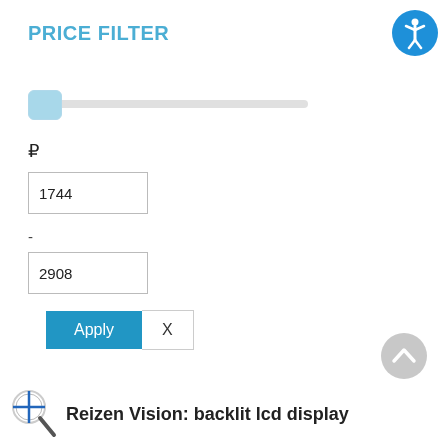[Figure (infographic): Blue circular accessibility icon with white person symbol, top right corner]
PRICE FILTER
[Figure (infographic): Horizontal price range slider with light blue thumb handle at leftmost position on a light gray track]
₽
1744
-
2908
Apply   X
[Figure (infographic): Gray circular scroll-to-top button with upward arrow, lower right]
[Figure (infographic): Magnifier with blue plus icon]
Reizen Vision: backlit lcd display